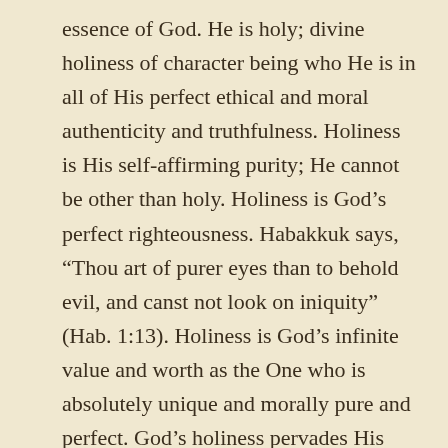essence of God. He is holy; divine holiness of character being who He is in all of His perfect ethical and moral authenticity and truthfulness. Holiness is His self-affirming purity; He cannot be other than holy. Holiness is God’s perfect righteousness. Habakkuk says, “Thou art of purer eyes than to behold evil, and canst not look on iniquity” (Hab. 1:13). Holiness is God’s infinite value and worth as the One who is absolutely unique and morally pure and perfect. God’s holiness pervades His entire being and shapes all His attributes and His actions with humanity. That God is holy means that His very being is completely devoid of even a trace of sin, unrighteousness or moral deviation.

In the Creation Story, it was God’s desire that holiness be the atmosphere which would pervade the Garden of Eden and perpetuate the well-fellowshipping with His Creator.